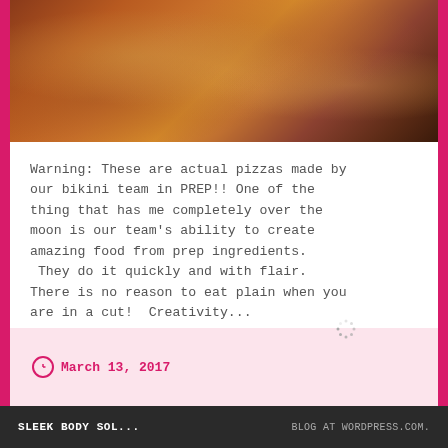[Figure (photo): Top portion of a food photo showing pizzas made with prep ingredients, warm orange-brown tones]
Warning: These are actual pizzas made by our bikini team in PREP!! One of the thing that has me completely over the moon is our team's ability to create amazing food from prep ingredients.
 They do it quickly and with flair. There is no reason to eat plain when you are in a cut!  Creativity...
Continue Reading →
March 13, 2017
SLEEK BODY SOL...    BLOG AT WORDPRESS.COM.